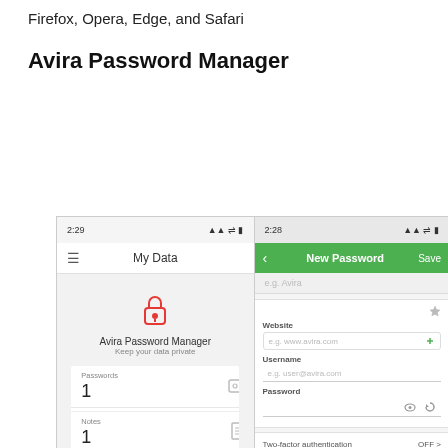Firefox, Opera, Edge, and Safari
Avira Password Manager
[Figure (screenshot): Two mobile app screenshots of Avira Password Manager. Left screen shows 'My Data' with Passwords: 1, Notes: 1, Wallet: 0. Right screen shows 'New Password' form with fields for Website, Username, Password, Two-factor authentication (OFF), and Notes.]